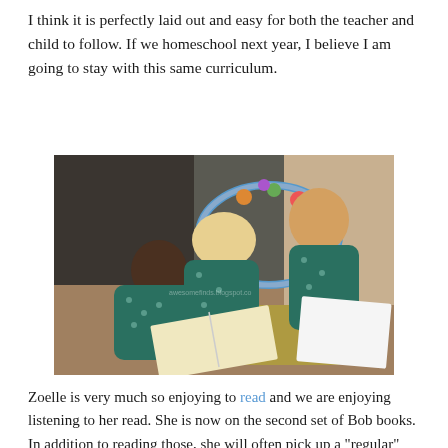I think it is perfectly laid out and easy for both the teacher and child to follow. If we homeschool next year, I believe I am going to stay with this same curriculum.
[Figure (photo): Three young children sitting on the floor looking at books. Two are wearing matching teal polka-dot outfits. A colorful baby gym is visible in the background.]
Zoelle is very much so enjoying to read and we are enjoying listening to her read. She is now on the second set of Bob books. In addition to reading those, she will often pick up a "regular" book and sound out words or recognize words by sight.
We are on the search for a math program to work on this